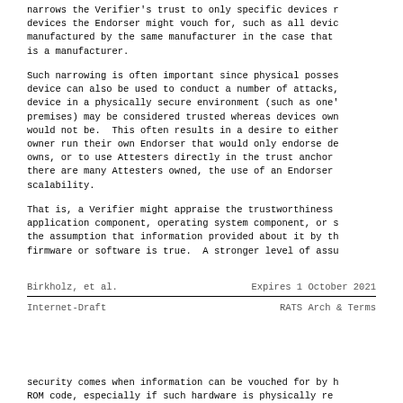narrows the Verifier's trust to only specific devices r devices the Endorser might vouch for, such as all devic manufactured by the same manufacturer in the case that is a manufacturer.
Such narrowing is often important since physical posses device can also be used to conduct a number of attacks, device in a physically secure environment (such as one' premises) may be considered trusted whereas devices own would not be.  This often results in a desire to either owner run their own Endorser that would only endorse de owns, or to use Attesters directly in the trust anchor there are many Attesters owned, the use of an Endorser scalability.
That is, a Verifier might appraise the trustworthiness application component, operating system component, or s the assumption that information provided about it by th firmware or software is true.  A stronger level of assu
Birkholz, et al.        Expires 1 October 2021
Internet-Draft                    RATS Arch & Terms
security comes when information can be vouched for by h ROM code, especially if such hardware is physically re